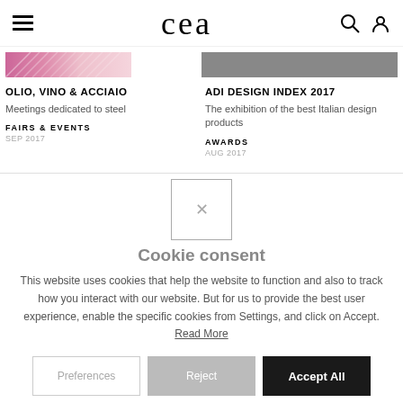cea
[Figure (screenshot): Website card: OLIO, VINO & ACCIAIO - Meetings dedicated to steel, FAIRS & EVENTS, SEP 2017]
[Figure (screenshot): Website card: ADI DESIGN INDEX 2017 - The exhibition of the best Italian design products, AWARDS, AUG 2017]
Cookie consent
This website uses cookies that help the website to function and also to track how you interact with our website. But for us to provide the best user experience, enable the specific cookies from Settings, and click on Accept. Read More